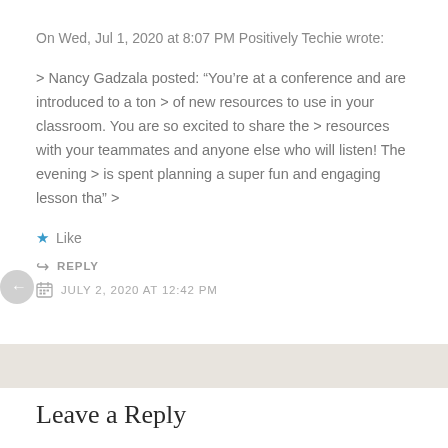On Wed, Jul 1, 2020 at 8:07 PM Positively Techie wrote:
> Nancy Gadzala posted: “You’re at a conference and are introduced to a ton > of new resources to use in your classroom. You are so excited to share the > resources with your teammates and anyone else who will listen! The evening > is spent planning a super fun and engaging lesson tha” >
★ Like
↪ REPLY
JULY 2, 2020 AT 12:42 PM
Leave a Reply